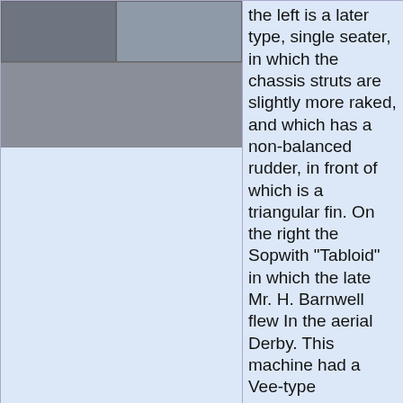[Figure (photo): Composite of three black-and-white photographs of early biplanes; two smaller photos on top row and one larger photo below]
the left is a later type, single seater, in which the chassis struts are slightly more raked, and which has a non-balanced rudder, in front of which is a triangular fin. On the right the Sopwith "Tabloid" in which the late Mr. H. Barnwell flew In the aerial Derby. This machine had a Vee-type undercarriage.
[Figure (photo): Black-and-white photograph of the Sopwith Tabloid prototype biplane on the ground at Brooklands]
P.Lewis - The British Fighter since 1912 /Putnam/
Sopwith Tabloid prototype at Brooklands.
[Figure (photo): Black-and-white photograph of the 80 H.P. Sopwith Biplane viewed from the front, with people standing nearby]
Журнал - Flight за 1913 г.
THE 80 H.P. SOPWITH BIPLANE. - View from the front.
[Figure (photo): Black-and-white photograph of early Sopwith aircraft on ground]
P.Jarrett - Pioneer Aircraft: Early Aviation Before 1914 /Putnam/
This view of the first Sopwith Tabloid at Hendon shows to